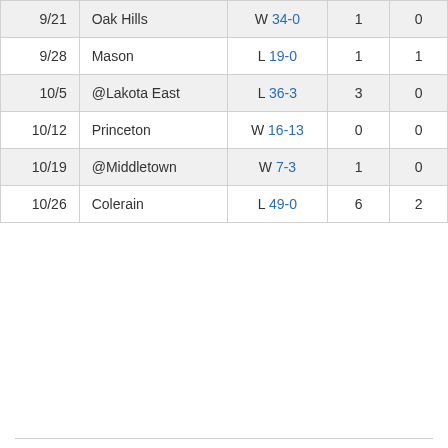| Date | Opponent | Score | Col4 | Col5 |
| --- | --- | --- | --- | --- |
| 9/21 | Oak Hills | W 34-0 | 1 | 0 |
| 9/28 | Mason | L 19-0 | 1 | 1 |
| 10/5 | @Lakota East | L 36-3 | 3 | 0 |
| 10/12 | Princeton | W 16-13 | 0 | 0 |
| 10/19 | @Middletown | W 7-3 | 1 | 0 |
| 10/26 | Colerain | L 49-0 | 6 | 2 |
GMC
News
Athletes of Week
College Commitments
All Sports Trophy
State Champions
History
Fall
Football
Girls Volleyball
Boys Soccer
Girls Soccer
Boys Cross Country
Girls Cross Country
Winter
Boys Basketball
Girls Basketball
Wrestling
Boys Swimming
Girls Swimming
Boys Bowling